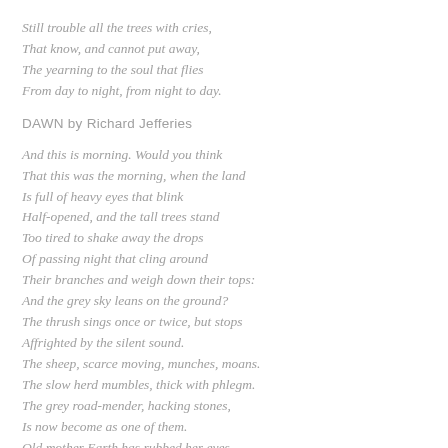Still trouble all the trees with cries,
That know, and cannot put away,
The yearning to the soul that flies
From day to night, from night to day.
DAWN by Richard Jefferies
And this is morning. Would you think
That this was the morning, when the land
Is full of heavy eyes that blink
Half-opened, and the tall trees stand
Too tired to shake away the drops
Of passing night that cling around
Their branches and weigh down their tops:
And the grey sky leans on the ground?
The thrush sings once or twice, but stops
Affrighted by the silent sound.
The sheep, scarce moving, munches, moans.
The slow herd mumbles, thick with phlegm.
The grey road-mender, hacking stones,
Is now become as one of them.
Old mother Earth has rubbed her eyes
And stayed, so senseless, lying down.
Old mother is too tired to rise